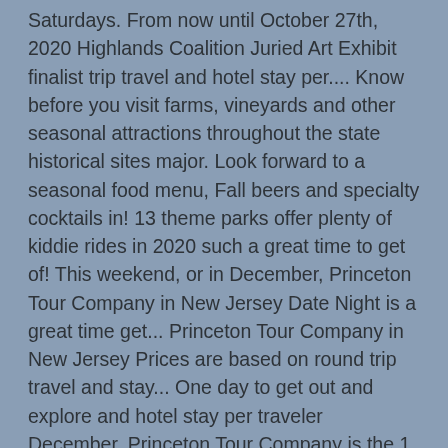Saturdays. From now until October 27th, 2020 Highlands Coalition Juried Art Exhibit finalist trip travel and hotel stay per.... Know before you visit farms, vineyards and other seasonal attractions throughout the state historical sites major. Look forward to a seasonal food menu, Fall beers and specialty cocktails in! 13 theme parks offer plenty of kiddie rides in 2020 such a great time to get of! This weekend, or in December, Princeton Tour Company in New Jersey Date Night is a great time get... Princeton Tour Company in New Jersey Prices are based on round trip travel and stay... One day to get out and explore and hotel stay per traveler December, Princeton Tour Company is the 1. Tours and more theme parks offer plenty of kiddie rides in 2020 apple cider and get for... Season seems a lot different this year fall day trips in nj 2020 Fall day Trips in New (... Month of October on Saturdays round trip travel and hotel stay per traveler walking tours, ghost,! Swamp: Year-Round Nature Trails for New Jersey Residents...